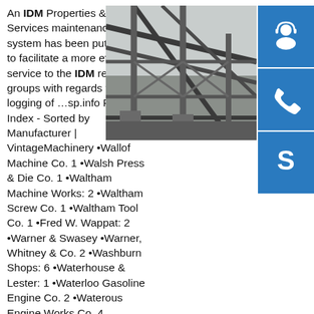An IDM Properties & Services maintenance call system has been put online to facilitate a more efficient service to the IDM research groups with regards the logging of …sp.info Photo Index - Sorted by Manufacturer | VintageMachinery •Wallof Machine Co. 1 •Walsh Press & Die Co. 1 •Waltham Machine Works: 2 •Waltham Screw Co. 1 •Waltham Tool Co. 1 •Fred W. Wappat: 2 •Warner & Swasey •Warner, Whitney & Co. 2 •Washburn Shops: 6 •Waterhouse & Lester: 1 •Waterloo Gasoline Engine Co. 2 •Waterous Engine Works Co. 4 •Waterville Iron Works ...sp.info (PDF) Building Construction Handbook | iqbal sevenfoldism ...Building Construction Handbook. × Close Log In. Log in with Facebook Log in with Google. or. Email. Password. Remember me on this computer. or reset password. Enter the email address you signed up with and
[Figure (photo): Industrial steel structure / building framework photo showing steel beams and columns]